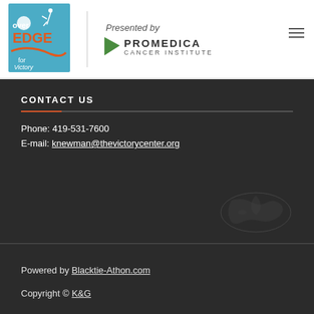[Figure (logo): Over the Edge for Victory logo — blue and orange graphic with rappelling figure, text 'over the EDGE for Victory']
[Figure (logo): ProMedica Cancer Institute logo — green triangle arrow with 'PROMEDICA CANCER INSTITUTE' text, preceded by 'Presented by' in italics]
CONTACT US
Phone: 419-531-7600
E-mail: knewman@thevictorycenter.org
Powered by Blacktie-Athon.com
Copyright © K&G